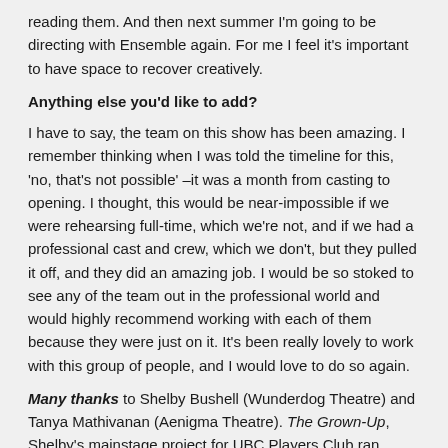reading them. And then next summer I'm going to be directing with Ensemble again. For me I feel it's important to have space to recover creatively.
Anything else you'd like to add?
I have to say, the team on this show has been amazing. I remember thinking when I was told the timeline for this, 'no, that's not possible' –it was a month from casting to opening. I thought, this would be near-impossible if we were rehearsing full-time, which we're not, and if we had a professional cast and crew, which we don't, but they pulled it off, and they did an amazing job. I would be so stoked to see any of the team out in the professional world and would highly recommend working with each of them because they were just on it. It's been really lovely to work with this group of people, and I would love to do so again.
Many thanks to Shelby Bushell (Wunderdog Theatre) and Tanya Mathivanan (Aenigma Theatre). The Grown-Up, Shelby's mainstage project for UBC Players Club ran November 6-10 at the Dorothy Somerset Theatre on UBC campus. Tanya's